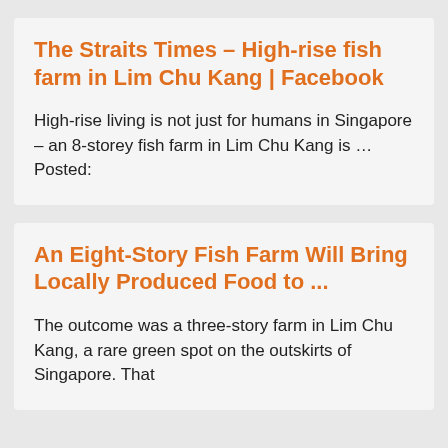The Straits Times – High-rise fish farm in Lim Chu Kang | Facebook
High-rise living is not just for humans in Singapore – an 8-storey fish farm in Lim Chu Kang is …Posted:
An Eight-Story Fish Farm Will Bring Locally Produced Food to ...
The outcome was a three-story farm in Lim Chu Kang, a rare green spot on the outskirts of Singapore. That